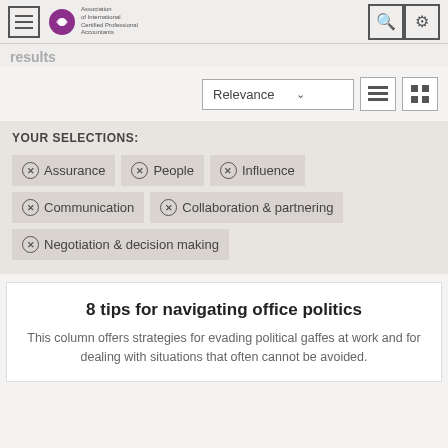Association of International Certified Professional Accountants
results
Relevance
YOUR SELECTIONS:
Assurance
People
Influence
Communication
Collaboration & partnering
Negotiation & decision making
8 tips for navigating office politics
This column offers strategies for evading political gaffes at work and for dealing with situations that often cannot be avoided.